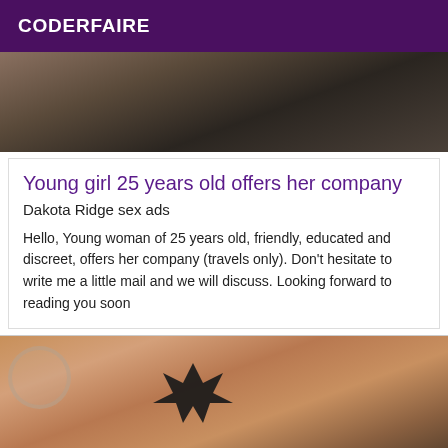CODERFAIRE
[Figure (photo): Top cropped photo showing dark background, part of a person]
Young girl 25 years old offers her company
Dakota Ridge sex ads
Hello, Young woman of 25 years old, friendly, educated and discreet, offers her company (travels only). Don't hesitate to write me a little mail and we will discuss. Looking forward to reading you soon
[Figure (photo): Bottom photo showing a person with a black star/cross tattoo shape, with highlighted hair visible]